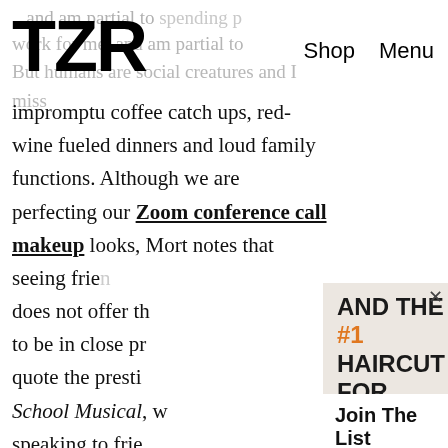TZR  Shop  Menu
...and am partial to spending plenty of time alone, and am partial to spending p... But humans are social creatures and I miss impromptu coffee catch ups, red-wine fueled dinners and loud family functions. Although we are perfecting our Zoom conference call makeup looks, Mort notes that seeing frien... does not offer th... to be in close pr... quote the presti... School Musical, w... speaking to frie... seeing celebritie... has unified us. I... stigmatizing our... opening up. If y...
[Figure (other): Popup/modal overlay showing haircut ad banner with text 'AND THE #1 HAIRCUT FOR 2022 IS...' and a photo of a blonde woman, plus an email signup section 'Join The List' with email input and Subscribe button]
AND THE #1 HAIRCUT FOR 2022 IS...
Join The List
Sign up for TZR's exclusive email list to uncover this season's top trends